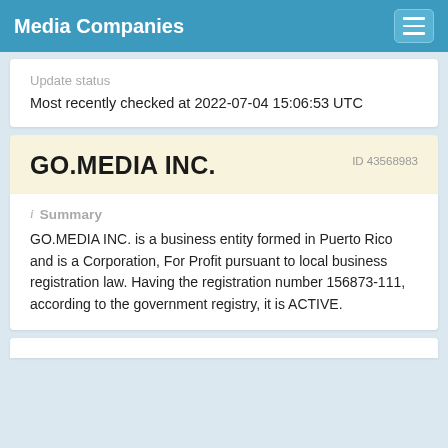Media Companies
Update status
Most recently checked at 2022-07-04 15:06:53 UTC
GO.MEDIA INC.
ID 43568983
Summary
GO.MEDIA INC. is a business entity formed in Puerto Rico and is a Corporation, For Profit pursuant to local business registration law. Having the registration number 156873-111, according to the government registry, it is ACTIVE.